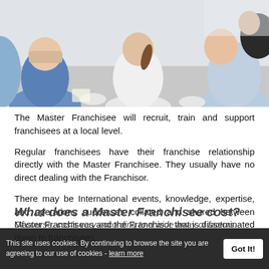[Figure (photo): Group of people seated in a circle in a meeting or training session, viewed from behind/side, casual office setting with white chairs]
The Master Franchisee will recruit, train and support franchisees at a local level.
Regular franchisees have their franchise relationship directly with the Master Franchisee. They usually have no direct dealing with the Franchisor.
There may be International events, knowledge, expertise, and operations successes collated and shared between Master Franchisees and the Franchisor that is disseminated down to franchisees.
This site uses cookies. By continuing to browse the site you are agreeing to our use of cookies - learn more   Got It!